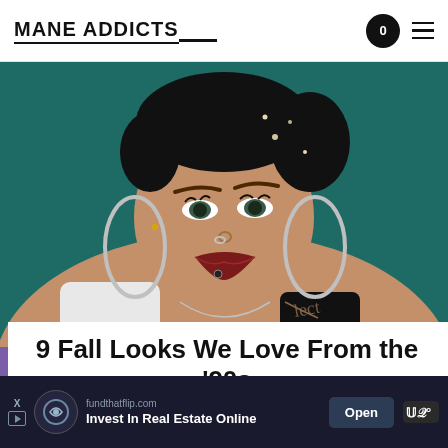MANE ADDICTS
[Figure (photo): Close-up portrait of a young Black woman with stylized hair accessories, large hoop earrings, nose ring, dark lipstick, and tattoos on shoulder, against a dark teal background.]
9 Fall Looks We Love From the ’90s
We (still) love the ’90s!
[Figure (other): Advertisement banner: fundthatflip.com — Invest In Real Estate Online. Open button shown.]